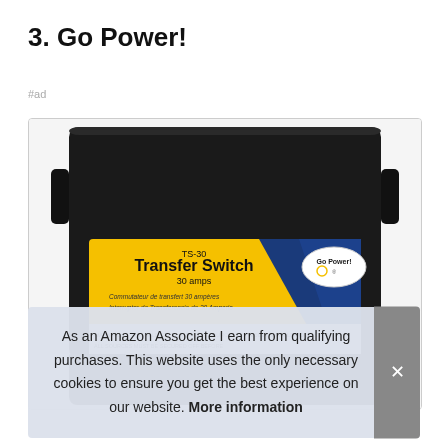3. Go Power!
#ad
[Figure (photo): Go Power! TS-30 Transfer Switch 30 amps product photo showing black device with yellow and blue label]
As an Amazon Associate I earn from qualifying purchases. This website uses the only necessary cookies to ensure you get the best experience on our website. More information